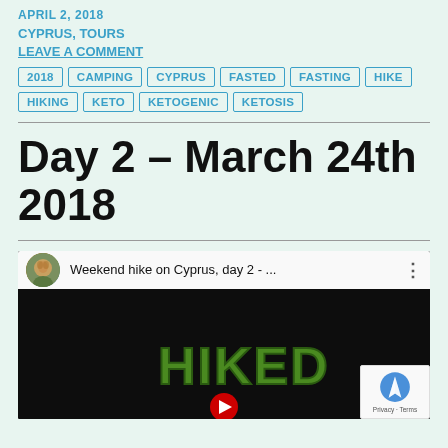APRIL 2, 2018
CYPRUS, TOURS
LEAVE A COMMENT
2018
CAMPING
CYPRUS
FASTED
FASTING
HIKE
HIKING
KETO
KETOGENIC
KETOSIS
Day 2 – March 24th 2018
[Figure (screenshot): YouTube video embed showing 'Weekend hike on Cyprus, day 2 - ...' with channel avatar, video title bar, and video thumbnail showing green HIKED text logo on dark background with red play button. ReCAPTCHA badge visible in bottom right corner.]